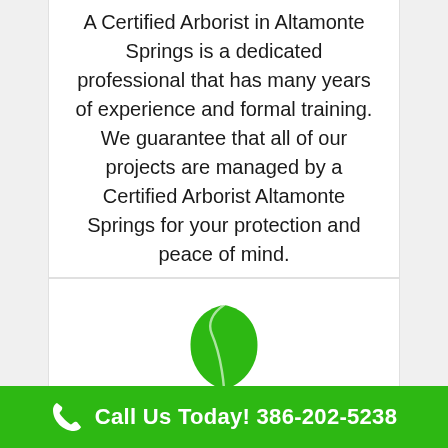A Certified Arborist in Altamonte Springs is a dedicated professional that has many years of experience and formal training. We guarantee that all of our projects are managed by a Certified Arborist Altamonte Springs for your protection and peace of mind.
[Figure (illustration): A green leaf icon/logo]
Call Us Today! 386-202-5238